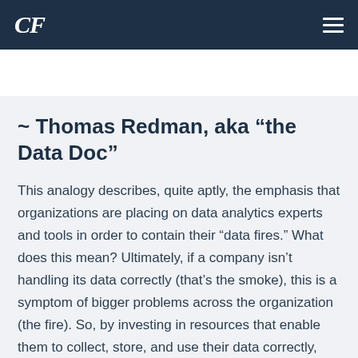CF  ☰
CF BLOG  See our blog categories ▾
~ Thomas Redman, aka “the Data Doc”
This analogy describes, quite aptly, the emphasis that organizations are placing on data analytics experts and tools in order to contain their “data fires.” What does this mean? Ultimately, if a company isn’t handling its data correctly (that’s the smoke), this is a symptom of bigger problems across the organization (the fire). So, by investing in resources that enable them to collect, store, and use their data correctly, organizations are